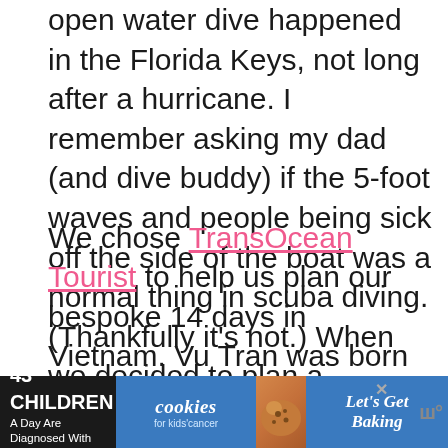open water dive happened in the Florida Keys, not long after a hurricane. I remember asking my dad (and dive buddy) if the 5-foot waves and people being sick off the side of the boat was a normal thing in scuba diving. (Thankfully it's not.) When we decided to plan a dad/daughter trip, our non-negotiables were adventure and good food. While a few countries were thrown around, we landed on spending 2 weeks in Vietnam. In our attempt to cover Vietnam in two weeks, we knew we needed to employ an expert.
We chose TransOcean Tourist to help us plan our bespoke 14 days in Vietnam. Vu Tran was born an... to A... in both
[Figure (infographic): Advertisement banner: '43 CHILDREN A Day Are Diagnosed With Cancer in the U.S.' with cookies for kids' cancer logo and 'Let's Get Baking' text, with a close button and media logo]